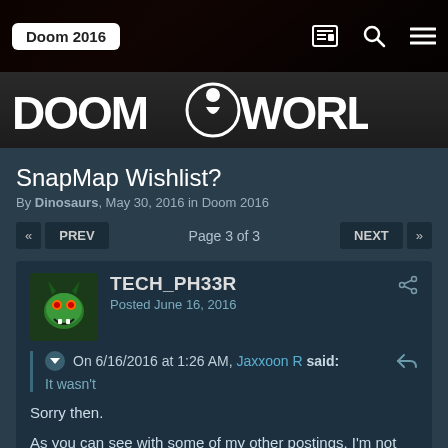[Figure (screenshot): Doomworld forum website screenshot showing a forum thread titled SnapMap Wishlist? with navigation, logo banner, and a post by TECH_PH33R dated June 16, 2016, quoting Jaxxoon R saying 'It wasn't' and replying 'Sorry then. As you can see with some of my other postings, I'm not here to hinder people. I just don't like people looking to benefit from others' work']
Doom 2016
SnapMap Wishlist?
By Dinosaurs, May 30, 2016 in Doom 2016
Page 3 of 3
TECH_PH33R
Posted June 16, 2016
On 6/16/2016 at 1:26 AM, Jaxxoon R said:
It wasn't
Sorry then.

As you can see with some of my other postings, I'm not here to hinder people. I just don't like people looking to benefit from others' work